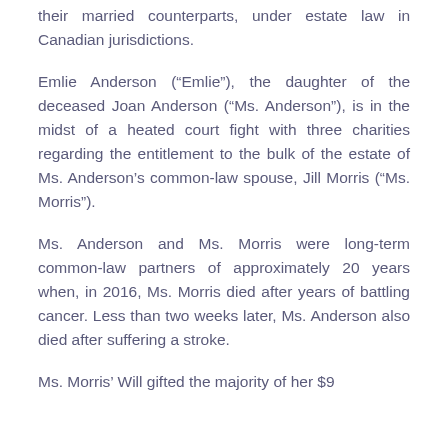their married counterparts, under estate law in Canadian jurisdictions.
Emlie Anderson (“Emlie”), the daughter of the deceased Joan Anderson (“Ms. Anderson”), is in the midst of a heated court fight with three charities regarding the entitlement to the bulk of the estate of Ms. Anderson’s common-law spouse, Jill Morris (“Ms. Morris”).
Ms. Anderson and Ms. Morris were long-term common-law partners of approximately 20 years when, in 2016, Ms. Morris died after years of battling cancer. Less than two weeks later, Ms. Anderson also died after suffering a stroke.
Ms. Morris’ Will gifted the majority of her $9